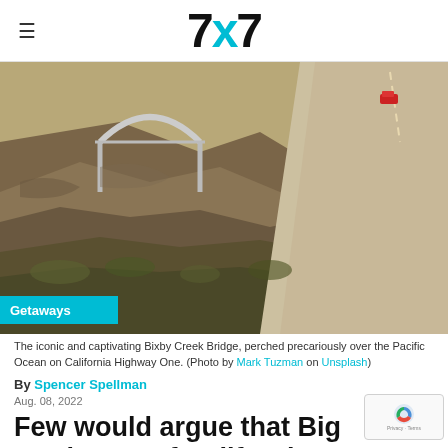7x7
[Figure (photo): Aerial view of Bixby Creek Bridge on California Highway One, showing rugged coastal cliffs and a red car on the highway. A 'Getaways' teal label overlays the bottom-left corner.]
The iconic and captivating Bixby Creek Bridge, perched precariously over the Pacific Ocean on California Highway One. (Photo by Mark Tuzman on Unsplash)
By Spencer Spellman
Aug. 08, 2022
Few would argue that Big Sur is one of California's, even America's, greatest trips—travelers come from around the world to drive this stretch of rugged